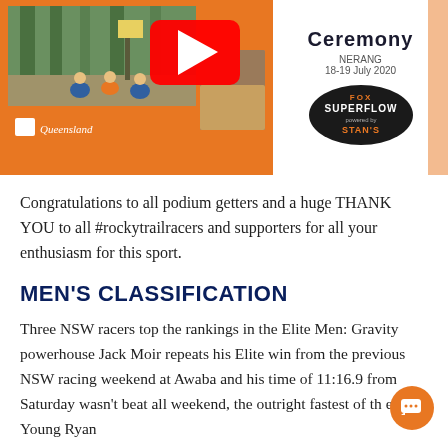[Figure (photo): Mountain biking event promotional image with orange background, YouTube play button overlay, cyclists in forest on left, and Fox Superflow ceremony information panel on right showing NERANG 18-19 July 2020]
Congratulations to all podium getters and a huge THANK YOU to all #rockytrailracers and supporters for all your enthusiasm for this sport.
MEN'S CLASSIFICATION
Three NSW racers top the rankings in the Elite Men: Gravity powerhouse Jack Moir repeats his Elite win from the previous NSW racing weekend at Awaba and his time of 11:16.9 from Saturday wasn't beat all weekend, the outright fastest of th event. Young Ryan